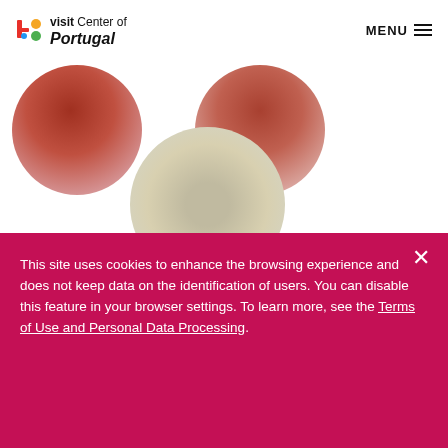visit Center of Portugal | MENU
[Figure (illustration): Two circular photo thumbnails in the top row (left and right) showing reddish/warm-toned images, and one circular photo thumbnail centered below showing a granular/texture image with 'E-learning' label overlay]
This site uses cookies to enhance the browsing experience and does not keep data on the identification of users. You can disable this feature in your browser settings. To learn more, see the Terms of Use and Personal Data Processing.